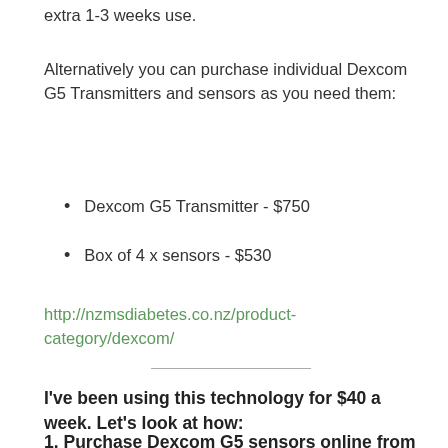extra 1-3 weeks use.
Alternatively you can purchase individual Dexcom G5 Transmitters and sensors as you need them:
Dexcom G5 Transmitter - $750
Box of 4 x sensors - $530
http://nzmsdiabetes.co.nz/product-category/dexcom/
I've been using this technology for $40 a week. Let's look at how:
1. Purchase Dexcom G5 sensors online from Chemist Warehouse